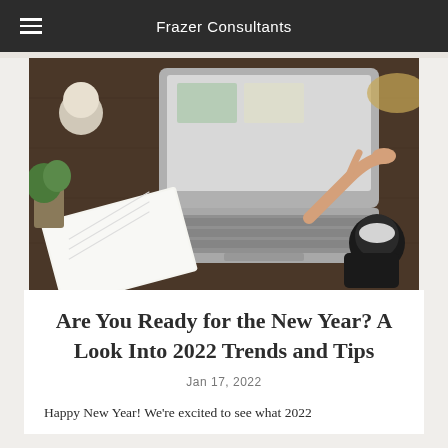Frazer Consultants
[Figure (photo): Overhead view of a person typing on a laptop at a wooden desk, with a notebook, candle, plant, coffee cup, and phone nearby.]
Are You Ready for the New Year? A Look Into 2022 Trends and Tips
Jan 17, 2022
Happy New Year! We're excited to see what 2022